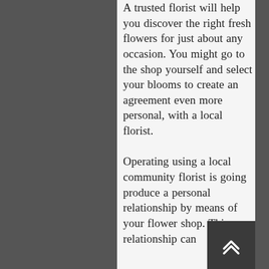A trusted florist will help you discover the right fresh flowers for just about any occasion. You might go to the shop yourself and select your blooms to create an agreement even more personal, with a local florist.

Operating using a local community florist is going produce a personal relationship by means of your flower shop. This relationship can